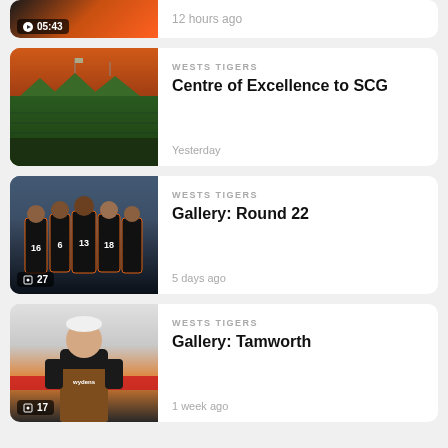[Figure (photo): Partial card at top showing video thumbnail with orange/dark colors, badge showing 05:43 duration, timestamp '12 hours ago']
12 hours ago
[Figure (photo): SCG stadium at dusk with orange sky and green roofed grandstands, Wests Tigers article thumbnail]
WESTS TIGERS
Centre of Excellence to SCG
Yesterday
[Figure (photo): Wests Tigers rugby league players huddled together from behind showing jersey numbers 16, 6, 13, 18 in black and orange, crowd in background. Badge showing 27 photos.]
WESTS TIGERS
Gallery: Round 22
5 days ago
[Figure (photo): Wests Tigers player in black and orange jersey with Wydens logo, looking up, white background with red advertising banner. Badge showing 17 photos.]
WESTS TIGERS
Gallery: Tamworth
1 week ago